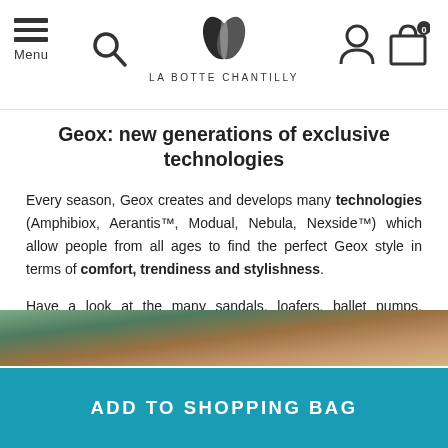Menu | [search] | LA BOTTE CHANTILLY | [account] | [bag] 0
Geox: new generations of exclusive technologies
Every season, Geox creates and develops many technologies (Amphibiox, Aerantis™, Modual, Nebula, Nexside™) which allow people from all ages to find the perfect Geox style in terms of comfort, trendiness and stylishness.
Have a look at the many sandals, loafers, ballet pumps, sneakers, boots, ankle-boots or lace-up boots that La Botte Chantilly has to offer!
[Figure (photo): Partial product photo showing shoes/boots on a background]
ADD TO SHOPPING BAG